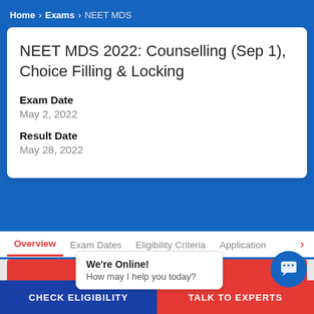Home > Exams > NEET MDS
NEET MDS 2022: Counselling (Sep 1), Choice Filling & Locking
Exam Date
May 2, 2022
Result Date
May 28, 2022
Overview  Exam Dates  Eligibility Criteria  Application
We're Online!
How may I help you today?
CHECK ELIGIBILITY
TALK TO EXPERTS